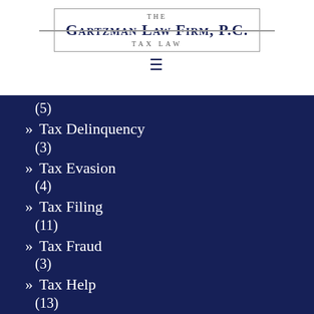[Figure (logo): The Gartzman Law Firm, P.C. Tax Law logo with border]
(5)
» Tax Delinquency (3)
» Tax Evasion (4)
» Tax Filing (11)
» Tax Fraud (3)
» Tax Help (13)